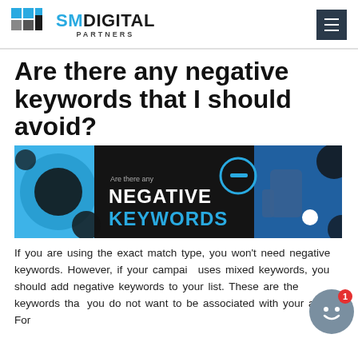SM DIGITAL PARTNERS
Are there any negative keywords that I should avoid?
[Figure (illustration): Banner image with dark and blue background showing the text 'Are there any NEGATIVE KEYWORDS' in bold white and cyan lettering, with decorative circles and a thumbs-down hand graphic on the right.]
If you are using the exact match type, you won't need negative keywords. However, if your campaign uses mixed keywords, you should add negative keywords to your list. These are the keywords that you do not want to be associated with your ad. For